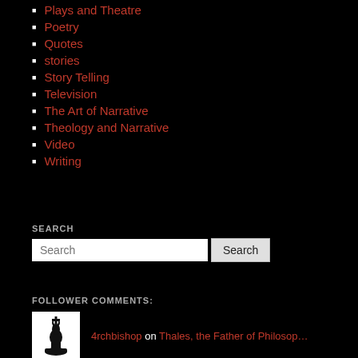Plays and Theatre
Poetry
Quotes
stories
Story Telling
Television
The Art of Narrative
Theology and Narrative
Video
Writing
SEARCH
Search [input] Search [button]
FOLLOWER COMMENTS:
4rchbishop on Thales, the Father of Philosop…
Bo von Scheele on Thales, the Father of Philosop…